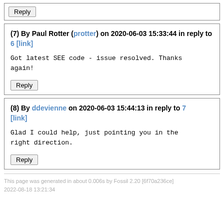Reply
(7) By Paul Rotter (protter) on 2020-06-03 15:33:44 in reply to 6 [link]
Got latest SEE code - issue resolved. Thanks again!
Reply
(8) By ddevienne on 2020-06-03 15:44:13 in reply to 7 [link]
Glad I could help, just pointing you in the right direction.
Reply
This page was generated in about 0.006s by Fossil 2.20 [6f70a236ce] 2022-08-18 13:21:34